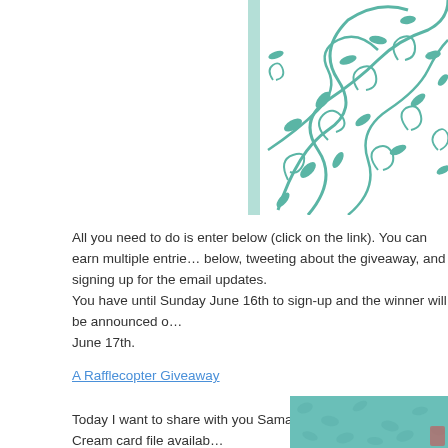[Figure (illustration): Decorative teal/mint colored floral scroll pattern with leaves and vines on white background, partially visible in top-right corner]
All you need to do is enter below (click on the link). You can earn multiple entries by commenting below, tweeting about the giveaway, and signing up for the email updates. You have until Sunday June 16th to sign-up and the winner will be announced on June 17th.
A Rafflecopter Giveaway
Today I want to share with you Samantha's adorable Ice Cream card file availa...
[Figure (photo): Teal/mint colored background with polka dot or leaf pattern, bottom portion of page, partially visible]